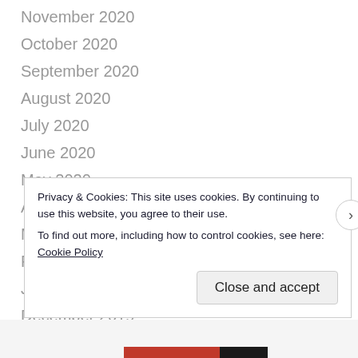November 2020
October 2020
September 2020
August 2020
July 2020
June 2020
May 2020
April 2020
March 2020
February 2020
January 2020
December 2019
Privacy & Cookies: This site uses cookies. By continuing to use this website, you agree to their use. To find out more, including how to control cookies, see here: Cookie Policy
Close and accept